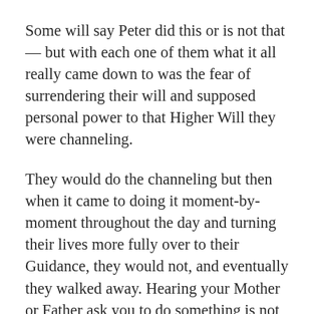Some will say Peter did this or is not that — but with each one of them what it all really came down to was the fear of surrendering their will and supposed personal power to that Higher Will they were channeling.
They would do the channeling but then when it came to doing it moment-by-moment throughout the day and turning their lives more fully over to their Guidance, they would not, and eventually they walked away. Hearing your Mother or Father ask you to do something is not the same as doing what your Mother or